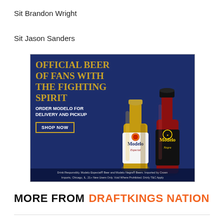Sit Brandon Wright
Sit Jason Sanders
[Figure (photo): Modelo beer advertisement with dark blue background showing two Modelo beer bottles (Modelo Especial and Modelo Negra). Text reads: 'OFFICIAL BEER OF FANS WITH THE FIGHTING SPIRIT - ORDER MODELO FOR DELIVERY AND PICKUP - SHOP NOW'. Fine print: 'Drink Responsibly. Modelo Especial® Beer and Modelo Negra® Beers. Imported by Crown Imports, Chicago, IL. 21+ New Users Only. Void Where Prohibited. Drizly T&C Apply']
MORE FROM DRAFTKINGS NATION